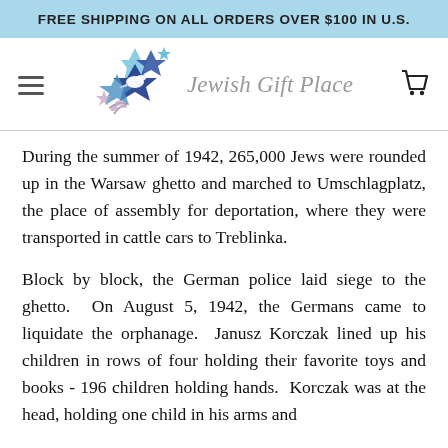FREE SHIPPING ON ALL ORDERS OVER $100 IN U.S.
[Figure (logo): Jewish Gift Place logo with Star of David and dove, text reads 'Jewish Gift Place']
During the summer of 1942, 265,000 Jews were rounded up in the Warsaw ghetto and marched to Umschlagplatz, the place of assembly for deportation, where they were transported in cattle cars to Treblinka.
Block by block, the German police laid siege to the ghetto.  On August 5, 1942, the Germans came to liquidate the orphanage.  Janusz Korczak lined up his children in rows of four holding their favorite toys and books - 196 children holding hands.  Korczak was at the head, holding one child in his arms and